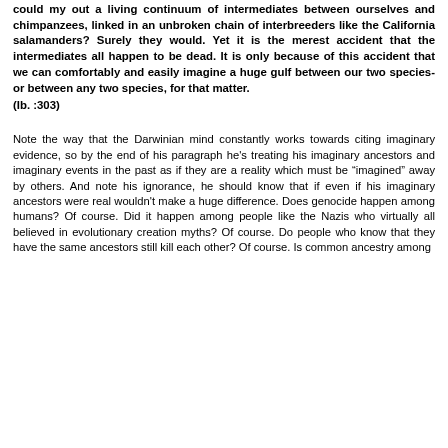could my out a living continuum of intermediates between ourselves and chimpanzees, linked in an unbroken chain of interbreeders like the California salamanders? Surely they would. Yet it is the merest accident that the intermediates all happen to be dead. It is only because of this accident that we can comfortably and easily imagine a huge gulf between our two species-or between any two species, for that matter.
(Ib. :303)
Note the way that the Darwinian mind constantly works towards citing imaginary evidence, so by the end of his paragraph he's treating his imaginary ancestors and imaginary events in the past as if they are a reality which must be “imagined” away by others. And note his ignorance, he should know that if even if his imaginary ancestors were real wouldn't make a huge difference. Does genocide happen among humans? Of course. Did it happen among people like the Nazis who virtually all believed in evolutionary creation myths? Of course. Do people who know that they have the same ancestors still kill each other? Of course. Is common ancestry among